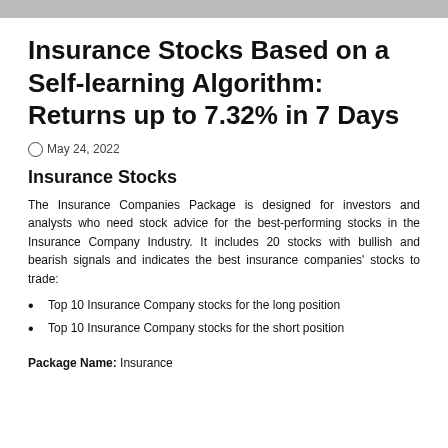Insurance Stocks Based on a Self-learning Algorithm: Returns up to 7.32% in 7 Days
© May 24, 2022
Insurance Stocks
The Insurance Companies Package is designed for investors and analysts who need stock advice for the best-performing stocks in the Insurance Company Industry. It includes 20 stocks with bullish and bearish signals and indicates the best insurance companies' stocks to trade:
Top 10 Insurance Company stocks for the long position
Top 10 Insurance Company stocks for the short position
Package Name: Insurance